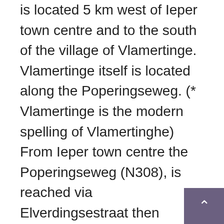is located 5 km west of Ieper town centre and to the south of the village of Vlamertinge. Vlamertinge itself is located along the Poperingseweg. (* Vlamertinge is the modern spelling of Vlamertinghe) From Ieper town centre the Poperingseweg (N308), is reached via Elverdingsestraat then straight over two small roundabouts in the J. Capronstraat. The Poperingseweg is a continuation of J. Capronstraat and begins after a prominent railway level crossing. The cemetery itself is located after turning left in the village of Vlamertinge onto the Hugo Verriestraat. This road crosses a railway and the main road N38, where the name of the street changes to Bellestraat. The VLAMERTINGHE NEW MILITARY CEMETE lies 200 metres on the left hand side of th